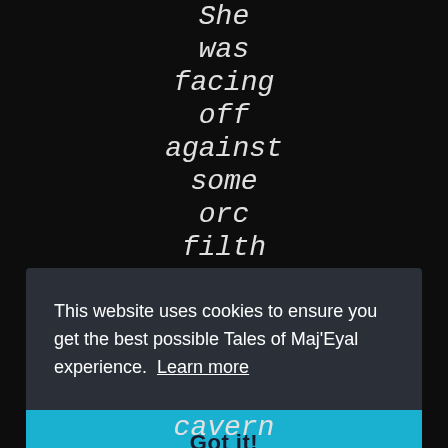She was facing off against some orc filth as usual, and after dispatching the
This website uses cookies to ensure you get the best possible Tales of Maj'Eyal experience.  Learn more
Got it!
cavern